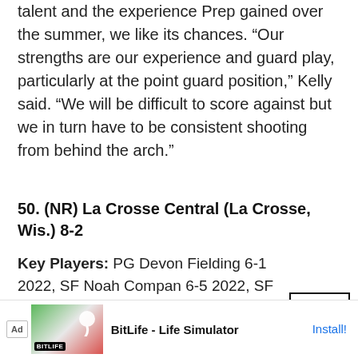talent and the experience Prep gained over the summer, we like its chances. “Our strengths are our experience and guard play, particularly at the point guard position,” Kelly said. “We will be difficult to score against but we in turn have to be consistent shooting from behind the arch.”
50. (NR) La Crosse Central (La Crosse, Wis.) 8-2
Key Players: PG Devon Fielding 6-1 2022, SF Noah Compan 6-5 2022, SF Porter Pretasky 6-5 2022.
Why
[Figure (other): Advertisement banner for BitLife - Life Simulator app with Ad badge, app icon images, title text and Install button]